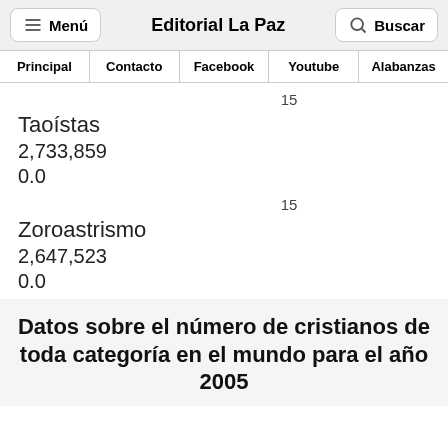Menú | Editorial La Paz | Buscar
Principal | Contacto | Facebook | Youtube | Alabanzas
15
Taoístas
2,733,859
0.0
15
Zoroastrismo
2,647,523
0.0
Datos sobre el número de cristianos de toda categoría en el mundo para el año 2005